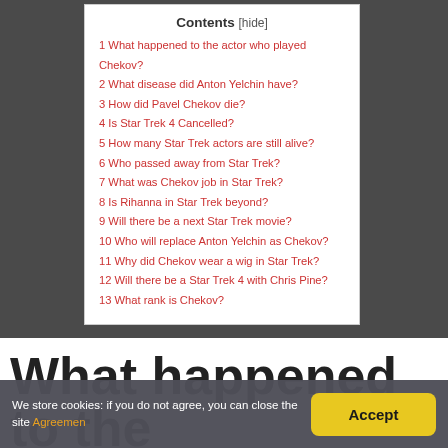Contents [hide]
1 What happened to the actor who played Chekov?
2 What disease did Anton Yelchin have?
3 How did Pavel Chekov die?
4 Is Star Trek 4 Cancelled?
5 How many Star Trek actors are still alive?
6 Who passed away from Star Trek?
7 What was Chekov job in Star Trek?
8 Is Rihanna in Star Trek beyond?
9 Will there be a next Star Trek movie?
10 Who will replace Anton Yelchin as Chekov?
11 Why did Chekov wear a wig in Star Trek?
12 Will there be a Star Trek 4 with Chris Pine?
13 What rank is Chekov?
What happened to the
We store cookies: if you do not agree, you can close the site Agreemen